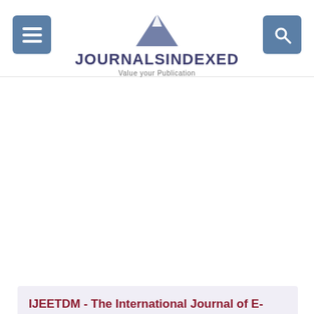JOURNALSINDEXED – Value your Publication
IJEETDM - The International Journal of E-